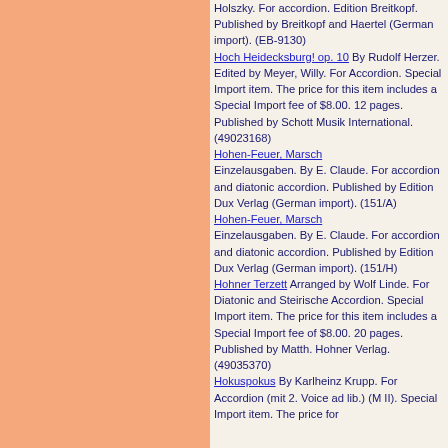Holszky. For accordion. Edition Breitkopf. Published by Breitkopf and Haertel (German import). (EB-9130) Hoch Heidecksburg! op. 10 By Rudolf Herzer. Edited by Meyer, Willy. For Accordion. Special Import item. The price for this item includes a Special Import fee of $8.00. 12 pages. Published by Schott Musik International. (49023168) Hohen-Feuer, Marsch Einzelausgaben. By E. Claude. For accordion and diatonic accordion. Published by Edition Dux Verlag (German import). (151/A) Hohen-Feuer, Marsch Einzelausgaben. By E. Claude. For accordion and diatonic accordion. Published by Edition Dux Verlag (German import). (151/H) Hohner Terzett Arranged by Wolf Linde. For Diatonic and Steirische Accordion. Special Import item. The price for this item includes a Special Import fee of $8.00. 20 pages. Published by Matth. Hohner Verlag. (49035370) Hokuspokus By Karlheinz Krupp. For Accordion (mit 2. Voice ad lib.) (M II). Special Import item. The price for